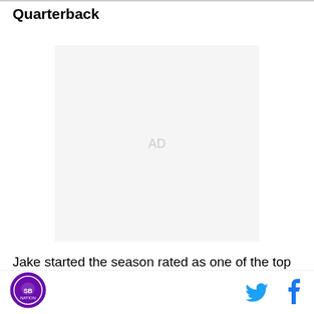Quarterback
[Figure (other): Advertisement placeholder box with 'AD' text centered in a light gray rectangle]
Jake started the season rated as one of the top college QB's in the country and an odds on favorite to be the
Footer with site logo on left and Twitter/Facebook social icons on right